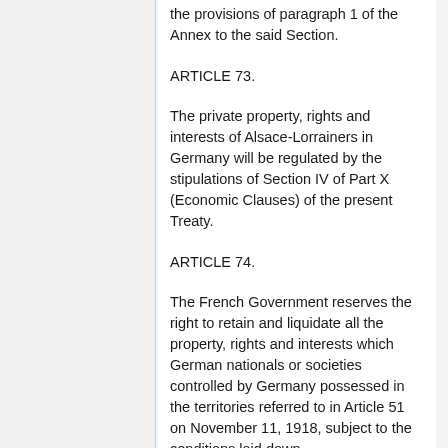the provisions of paragraph 1 of the Annex to the said Section.
ARTICLE 73.
The private property, rights and interests of Alsace-Lorrainers in Germany will be regulated by the stipulations of Section IV of Part X (Economic Clauses) of the present Treaty.
ARTICLE 74.
The French Government reserves the right to retain and liquidate all the property, rights and interests which German nationals or societies controlled by Germany possessed in the territories referred to in Article 51 on November 11, 1918, subject to the conditions laid down